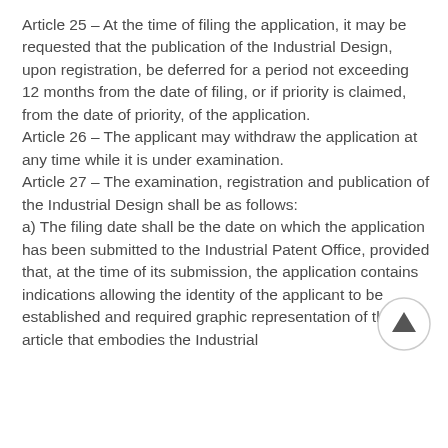Article 25 – At the time of filing the application, it may be requested that the publication of the Industrial Design, upon registration, be deferred for a period not exceeding 12 months from the date of filing, or if priority is claimed, from the date of priority, of the application.
Article 26 – The applicant may withdraw the application at any time while it is under examination.
Article 27 – The examination, registration and publication of the Industrial Design shall be as follows:
a) The filing date shall be the date on which the application has been submitted to the Industrial Patent Office, provided that, at the time of its submission, the application contains indications allowing the identity of the applicant to be established and required graphic representation of the article that embodies the Industrial Design.